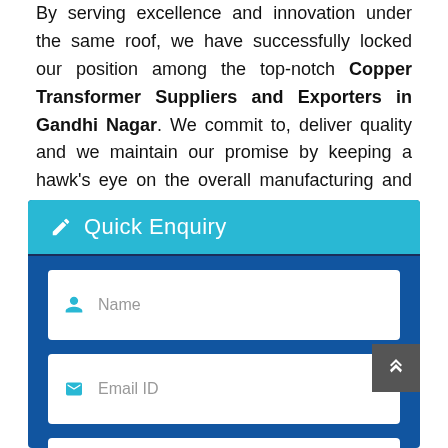By serving excellence and innovation under the same roof, we have successfully locked our position among the top-notch Copper Transformer Suppliers and Exporters in Gandhi Nagar. We commit to, deliver quality and we maintain our promise by keeping a hawk's eye on the overall manufacturing and quality testing process. Don't make much delay and drop us your enquiry today.
[Figure (screenshot): Quick Enquiry form with dark blue background, teal header bar with pencil icon and 'Quick Enquiry' title, and three white input fields: Name, Email ID, Contact No. A dark grey scroll-to-top button is visible on the right side.]